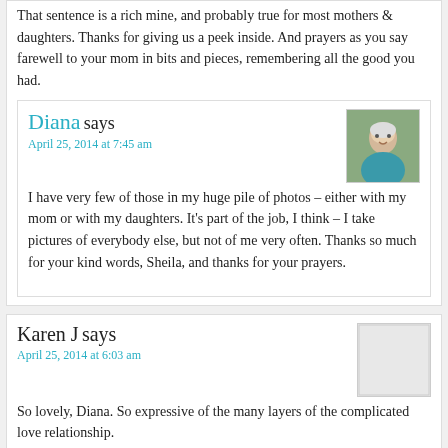That sentence is a rich mine, and probably true for most mothers & daughters. Thanks for giving us a peek inside. And prayers as you say farewell to your mom in bits and pieces, remembering all the good you had.
Diana says
April 25, 2014 at 7:45 am
I have very few of those in my huge pile of photos – either with my mom or with my daughters. It's part of the job, I think – I take pictures of everybody else, but not of me very often. Thanks so much for your kind words, Sheila, and thanks for your prayers.
Karen J says
April 25, 2014 at 6:03 am
So lovely, Diana. So expressive of the many layers of the complicated love relationship.
Diana says
April 25, 2014 at 7:54 am
Thank you for reading, my friend, and for leaving